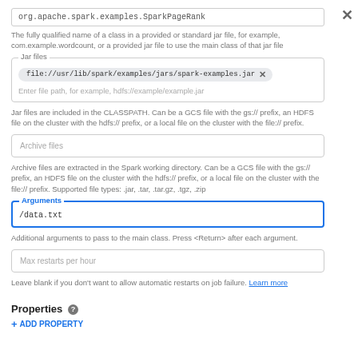org.apache.spark.examples.SparkPageRank
The fully qualified name of a class in a provided or standard jar file, for example, com.example.wordcount, or a provided jar file to use the main class of that jar file
Jar files — file://usr/lib/spark/examples/jars/spark-examples.jar
Enter file path, for example, hdfs://example/example.jar
Jar files are included in the CLASSPATH. Can be a GCS file with the gs:// prefix, an HDFS file on the cluster with the hdfs:// prefix, or a local file on the cluster with the file:// prefix.
Archive files
Archive files are extracted in the Spark working directory. Can be a GCS file with the gs:// prefix, an HDFS file on the cluster with the hdfs:// prefix, or a local file on the cluster with the file:// prefix. Supported file types: .jar, .tar, .tar.gz, .tgz, .zip
Arguments — /data.txt
Additional arguments to pass to the main class. Press <Return> after each argument.
Max restarts per hour
Leave blank if you don't want to allow automatic restarts on job failure. Learn more
Properties
+ ADD PROPERTY